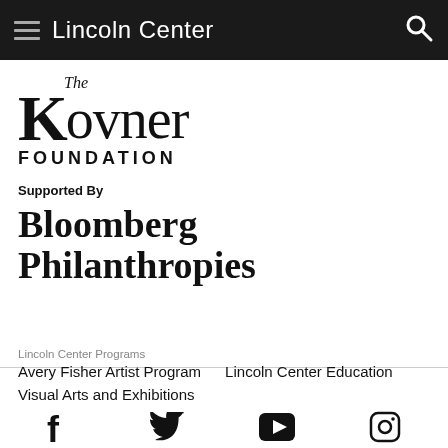Lincoln Center
[Figure (logo): The Kovner Foundation logo — serif wordmark with 'The' in italic above 'Kovner' in large serif font and 'FOUNDATION' in spaced small caps below]
Supported By
[Figure (logo): Bloomberg Philanthropies logo — bold serif two-line text: 'Bloomberg' and 'Philanthropies']
Lincoln Center Programs
Avery Fisher Artist Program   Lincoln Center Education
Visual Arts and Exhibitions
[Figure (infographic): Social media icons row: Facebook, Twitter, YouTube, Instagram]